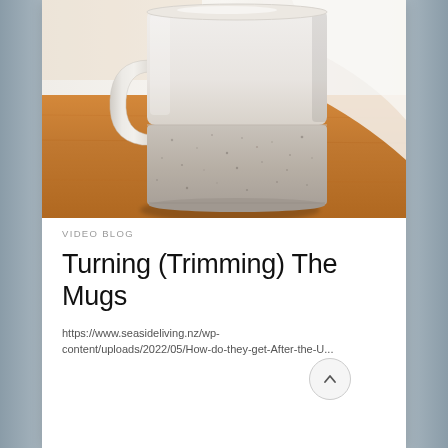[Figure (photo): Close-up photograph of a white ceramic mug with speckled/matte glaze texture sitting on a warm wooden surface, with white fabric/paper visible in the background]
VIDEO BLOG
Turning (Trimming) The Mugs
https://www.seasideliving.nz/wp-content/uploads/2022/05/How-do-they-get-After-the...